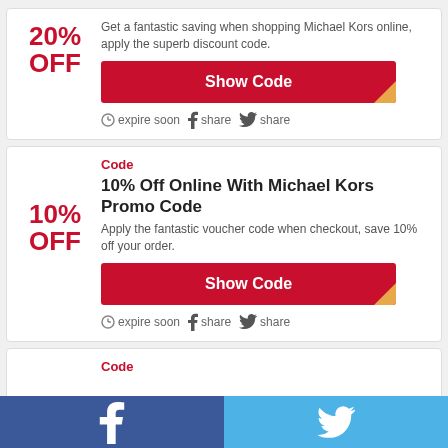20% OFF
Get a fantastic saving when shopping Michael Kors online, apply the superb discount code.
Show Code
expire soon  share  share
Code
10% Off Online With Michael Kors Promo Code
10% OFF
Apply the fantastic voucher code when checkout, save 10% off your order.
Show Code
expire soon  share  share
Code